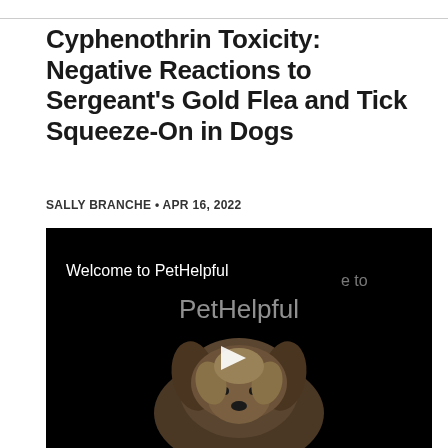Cyphenothrin Toxicity: Negative Reactions to Sergeant's Gold Flea and Tick Squeeze-On in Dogs
SALLY BRANCHE • APR 16, 2022
[Figure (screenshot): Video thumbnail showing a small dog (Yorkshire Terrier) on a black background with the text 'Welcome to PetHelpful' displayed twice — once in white at top-left and once in gray large text centered — with a white play button triangle in the center.]